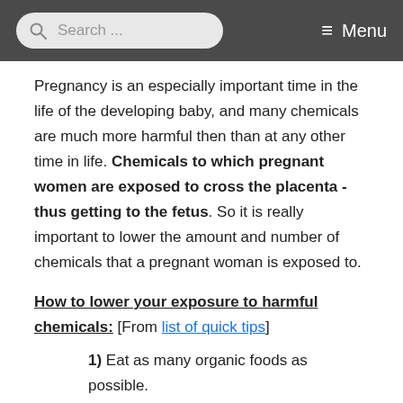Search ... Menu
Pregnancy is an especially important time in the life of the developing baby, and many chemicals are much more harmful then than at any other time in life. Chemicals to which pregnant women are exposed to cross the placenta - thus getting to the fetus. So it is really important to lower the amount and number of chemicals that a pregnant woman is exposed to.
How to lower your exposure to harmful chemicals: [From list of quick tips]
1) Eat as many organic foods as possible.